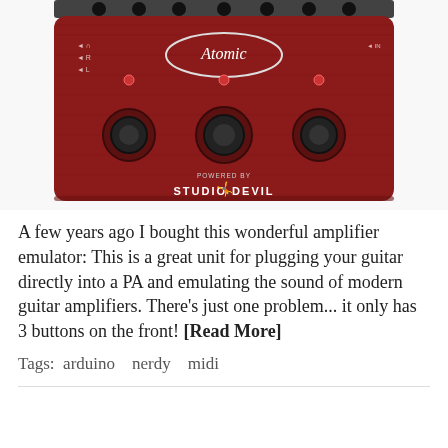[Figure (photo): Red Atomic guitar amplifier emulator pedal with 3 footswitches on the front panel, branded 'Atomic' and 'Powered by Studio Devil', with black knobs on top]
A few years ago I bought this wonderful amplifier emulator: This is a great unit for plugging your guitar directly into a PA and emulating the sound of modern guitar amplifiers. There's just one problem... it only has 3 buttons on the front! [Read More]
Tags:  arduino   nerdy   midi